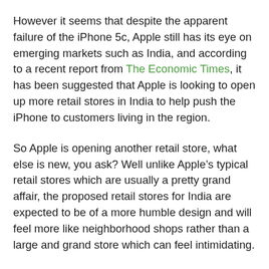However it seems that despite the apparent failure of the iPhone 5c, Apple still has its eye on emerging markets such as India, and according to a recent report from The Economic Times, it has been suggested that Apple is looking to open up more retail stores in India to help push the iPhone to customers living in the region.
So Apple is opening another retail store, what else is new, you ask? Well unlike Apple’s typical retail stores which are usually a pretty grand affair, the proposed retail stores for India are expected to be of a more humble design and will feel more like neighborhood shops rather than a large and grand store which can feel intimidating.